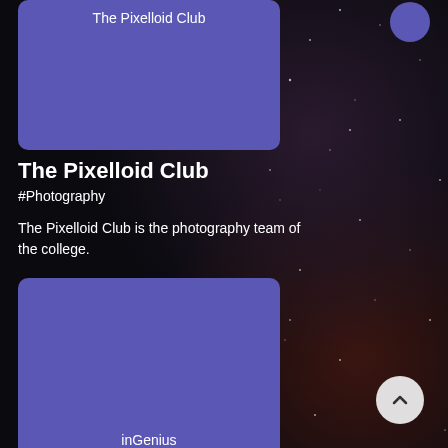[Figure (illustration): Purple/indigo card with text 'The Pixelloid Club' at the top, on a dark starfield background]
The Pixelloid Club
#Photography
The Pixelloid Club is the photography team of the college.
[Figure (illustration): Purple/indigo card with text 'inGenius' near the bottom center, on a dark starfield background]